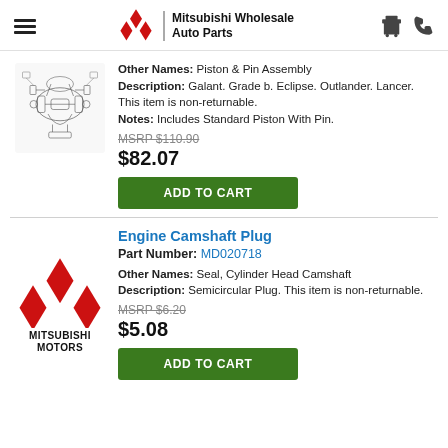Mitsubishi Wholesale Auto Parts
[Figure (illustration): Technical parts diagram illustration for Mitsubishi engine piston assembly]
Other Names: Piston & Pin Assembly
Description: Galant. Grade b. Eclipse. Outlander. Lancer. This item is non-returnable.
Notes: Includes Standard Piston With Pin.
MSRP $110.90
$82.07
ADD TO CART
[Figure (logo): Mitsubishi Motors logo – red diamond tristar with MITSUBISHI MOTORS text]
Engine Camshaft Plug
Part Number: MD020718
Other Names: Seal, Cylinder Head Camshaft
Description: Semicircular Plug. This item is non-returnable.
MSRP $6.20
$5.08
ADD TO CART